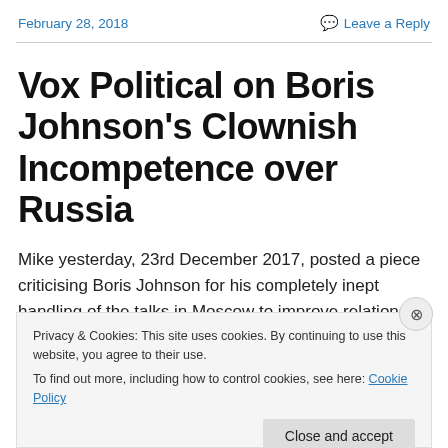February 28, 2018    Leave a Reply
Vox Political on Boris Johnson's Clownish Incompetence over Russia
Mike yesterday, 23rd December 2017, posted a piece criticising Boris Johnson for his completely inept handling of the talks in Moscow to improve relations with Russia.
Privacy & Cookies: This site uses cookies. By continuing to use this website, you agree to their use.
To find out more, including how to control cookies, see here: Cookie Policy

Close and accept